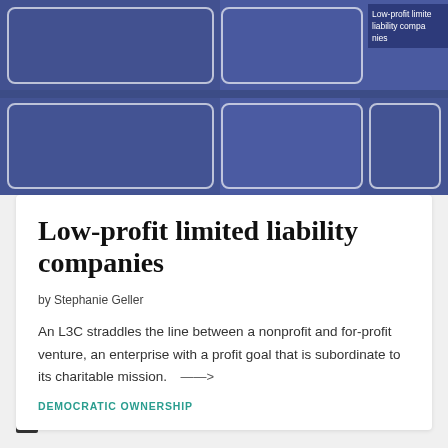[Figure (photo): Blue-tinted hero image with a grid of white-bordered card overlays, showing office/meeting scenes. Top right has a dark blue label reading 'Low-profit limited liability companies'.]
Low-profit limited liability companies
by Stephanie Geller
An L3C straddles the line between a nonprofit and for-profit venture, an enterprise with a profit goal that is subordinate to its charitable mission. →
DEMOCRATIC OWNERSHIP
STORIES